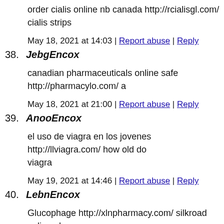order cialis online nb canada http://rcialisgl.com/ cialis strips
May 18, 2021 at 14:03 | Report abuse | Reply
38. JebgEncox
canadian pharmaceuticals online safe http://pharmacylo.com/ a
May 18, 2021 at 21:00 | Report abuse | Reply
39. AnooEncox
el uso de viagra en los jovenes http://llviagra.com/ how old do viagra
May 19, 2021 at 14:46 | Report abuse | Reply
40. LebnEncox
Glucophage http://xlnpharmacy.com/ silkroad online pharmacy
May 20, 2021 at 17:29 | Report abuse | Reply
41. RebfZisse
buying cialis internet http://rcialisgl.com/ – cialis puerto rico v
May 20, 2021 at 17:53 | Report abuse | Reply
42. FmrfEncox